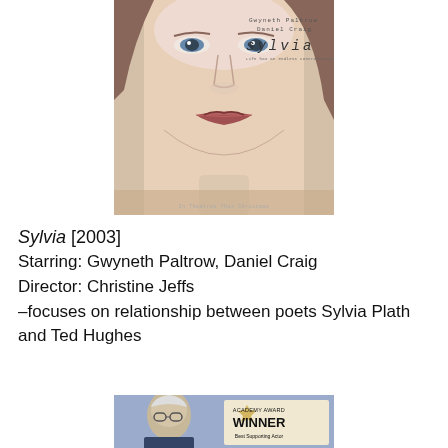[Figure (photo): Movie poster for 'Sylvia' (2003) showing a close-up of a woman's face (Gwyneth Paltrow) with text overlay showing 'Gwyneth Paltrow Daniel Craig sylvia' and tagline 'In Theatres This Christmas']
Sylvia [2003]
Starring: Gwyneth Paltrow, Daniel Craig
Director: Christine Jeffs
–focuses on relationship between poets Sylvia Plath and Ted Hughes
[Figure (photo): Movie poster showing an elderly man with glasses and text 'ACADEMY AWARD WINNER Best Supporting Actor']